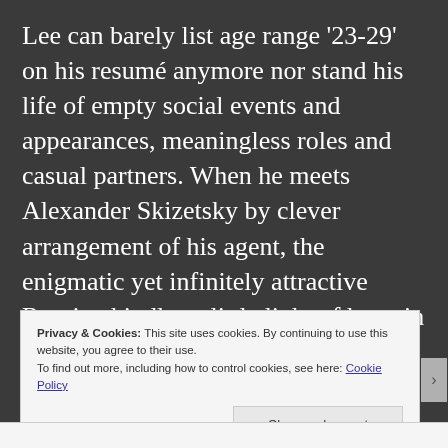Lee can barely list age range '23-29' on his resumé anymore nor stand his life of empty social events and appearances, meaningless roles and casual partners. When he meets Alexander Skizetsky by clever arrangement of his agent, the enigmatic yet infinitely attractive Russian kindles a little light of hope in his aching heart. Yet even the beginnings of a friendship and love beyond his wildest dreams cannot assuage a life spiraling out of control.
Privacy & Cookies: This site uses cookies. By continuing to use this website, you agree to their use.
To find out more, including how to control cookies, see here: Cookie Policy
Close and accept